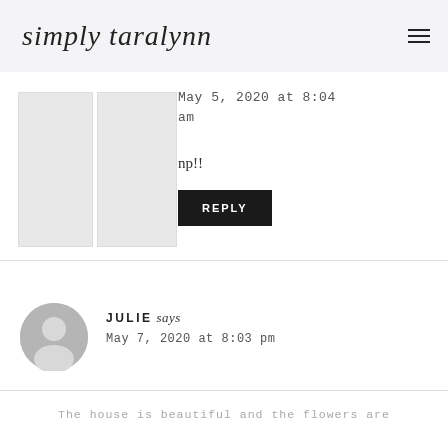simply taralynn
May 5, 2020 at 8:04 am
np!!
REPLY
JULIE says
May 7, 2020 at 8:03 pm
The house is beautiful and the flowers are